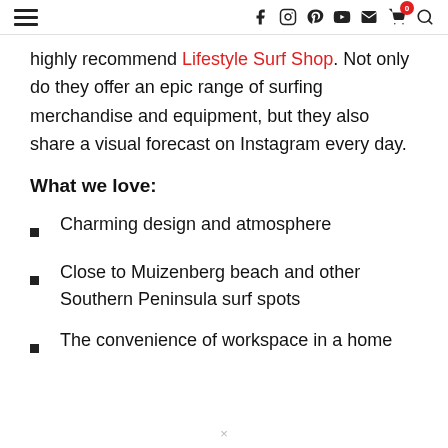Navigation bar with hamburger menu, social icons (facebook, instagram, pinterest, youtube, email), cart (0), search
highly recommend Lifestyle Surf Shop. Not only do they offer an epic range of surfing merchandise and equipment, but they also share a visual forecast on Instagram every day.
What we love:
Charming design and atmosphere
Close to Muizenberg beach and other Southern Peninsula surf spots
The convenience of workspace in a home